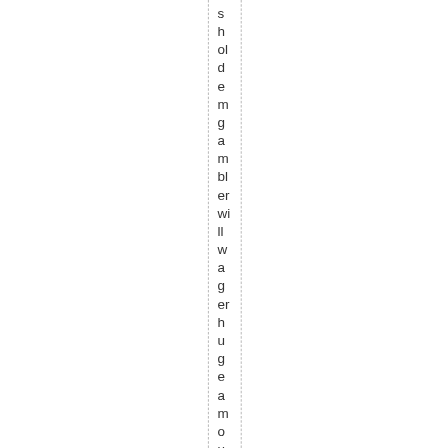s h ol d e m g a m bl er wi ll w a g er h u g e a m o u nt s to tr y